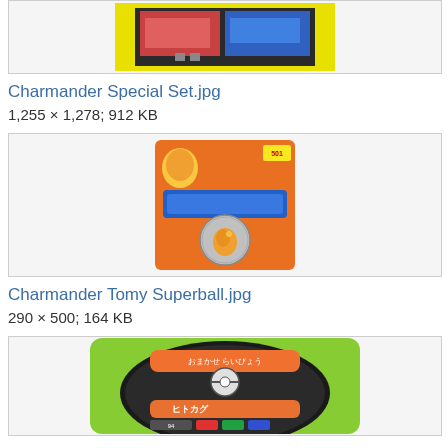[Figure (photo): Top portion of a Charmander Special Set product image (partially visible, cropped at top)]
Charmander Special Set.jpg
1,255 × 1,278; 912 KB
[Figure (photo): Charmander Tomy Superball product in orange packaging with a clear ball containing a Charmander figure inside]
Charmander Tomy Superball.jpg
290 × 500; 164 KB
[Figure (photo): A green Pokémon game card/token showing Charmander (ヒトカグ) with stats and information in Japanese, partially visible]